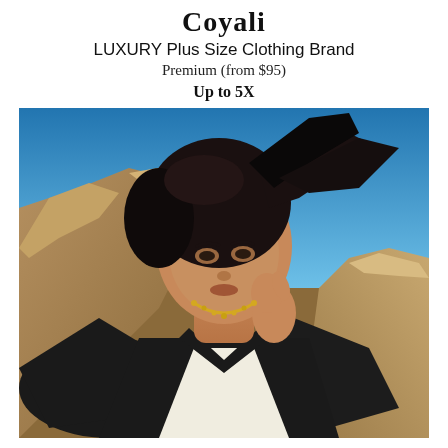Coyali
LUXURY Plus Size Clothing Brand
Premium (from $95)
Up to 5X
[Figure (photo): A plus-size woman model with long dark windswept hair, wearing a black and white V-neck dress with wide flowing sleeves, a gold chain necklace, posed against a blue sky and sandy rock formation background.]